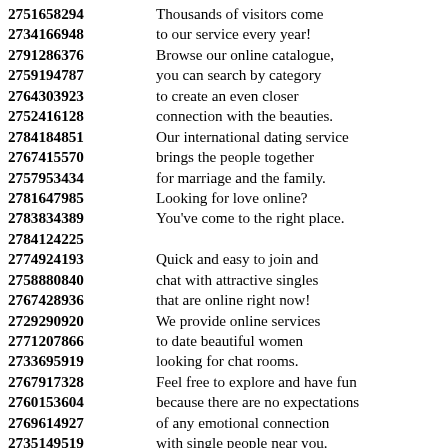2751658294 Thousands of visitors come
2734166948 to our service every year!
2791286376 Browse our online catalogue,
2759194787 you can search by category
2764303923 to create an even closer
2752416128 connection with the beauties.
2784184851 Our international dating service
2767415570 brings the people together
2757953434 for marriage and the family.
2781647985 Looking for love online?
2783834389 You've come to the right place.
2784124225
2774924193 Quick and easy to join and
2758880840 chat with attractive singles
2767428936 that are online right now!
2729290920 We provide online services
2771207866 to date beautiful women
2733695919 looking for chat rooms.
2767917328 Feel free to explore and have fun
2760153604 because there are no expectations
2769614927 of any emotional connection
2735149519 with single people near you.
2750717674 You will not be charged
2746379724 anything to sign up and
2798448913 send the new messages.